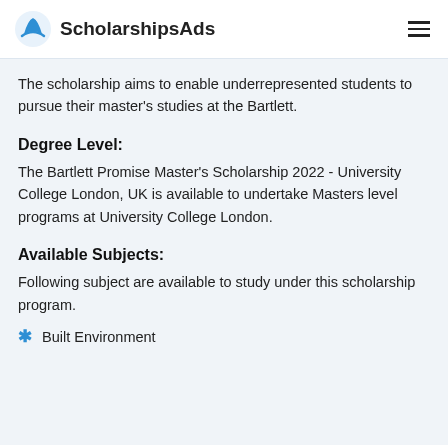ScholarshipsAds
The scholarship aims to enable underrepresented students to pursue their master's studies at the Bartlett.
Degree Level:
The Bartlett Promise Master's Scholarship 2022 - University College London, UK is available to undertake Masters level programs at University College London.
Available Subjects:
Following subject are available to study under this scholarship program.
Built Environment